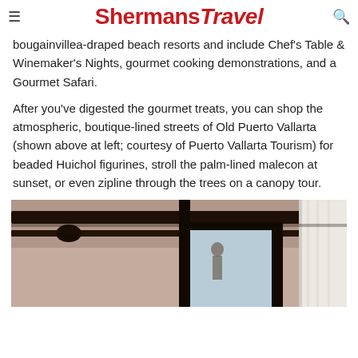ShermansTravel
bougainvillea-draped beach resorts and include Chef's Table & Winemaker's Nights, gourmet cooking demonstrations, and a Gourmet Safari.
After you've digested the gourmet treats, you can shop the atmospheric, boutique-lined streets of Old Puerto Vallarta (shown above at left; courtesy of Puerto Vallarta Tourism) for beaded Huichol figurines, stroll the palm-lined malecon at sunset, or even zipline through the trees on a canopy tour.
[Figure (photo): Interior of a resort room or corridor showing dark wooden beams, a wall lamp, a large dark wooden door/window frame with light behind it, and a white curtain on the right side.]